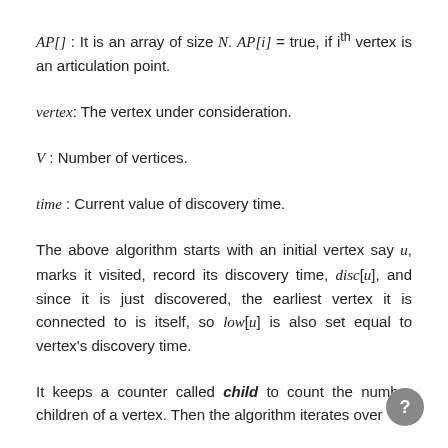AP[] : It is an array of size N. AP[i] = true, if i^th vertex is an articulation point.
vertex: The vertex under consideration.
V : Number of vertices.
time : Current value of discovery time.
The above algorithm starts with an initial vertex say u, marks it visited, record its discovery time, disc[u], and since it is just discovered, the earliest vertex it is connected to is itself, so low[u] is also set equal to vertex's discovery time.
It keeps a counter called child to count the number children of a vertex. Then the algorithm iterates over